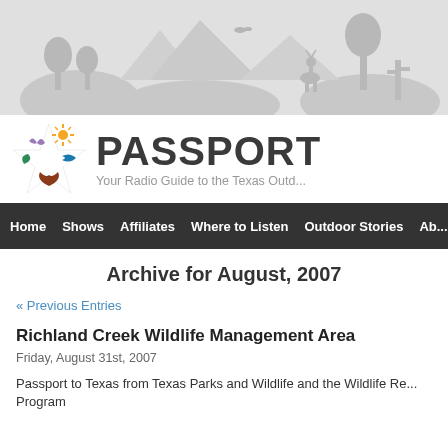[Figure (illustration): Gray banner with silhouette of Texas outdoor scene including trees, deer, and other wildlife]
[Figure (logo): Passport to Texas logo: colorful star made of nature-themed shapes (bird, leaf, fish, feather) with PASSPORT text and tagline 'Your Radio Guide to the Texas Outd...']
Home  Shows  Affiliates  Where to Listen  Outdoor Stories  Ab...
Archive for August, 2007
« Previous Entries
Richland Creek Wildlife Management Area
Friday, August 31st, 2007
Passport to Texas from Texas Parks and Wildlife and the Wildlife Re... Program